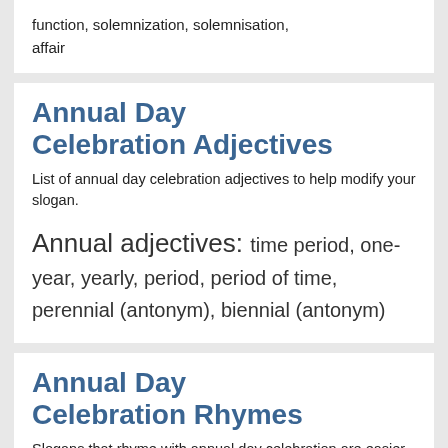function, solemnization, solemnisation, affair
Annual Day Celebration Adjectives
List of annual day celebration adjectives to help modify your slogan.
Annual adjectives: time period, one-year, yearly, period, period of time, perennial (antonym), biennial (antonym)
Annual Day Celebration Rhymes
Slogans that rhyme with annual day celebration are easier to remember and